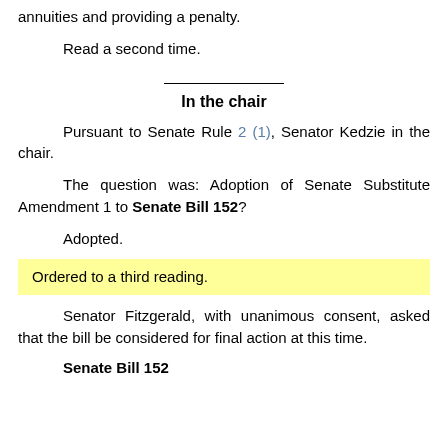annuities and providing a penalty.
Read a second time.
In the chair
Pursuant to Senate Rule 2 (1), Senator Kedzie in the chair.
The question was: Adoption of Senate Substitute Amendment 1 to Senate Bill 152?
Adopted.
Ordered to a third reading.
Senator Fitzgerald, with unanimous consent, asked that the bill be considered for final action at this time.
Senate Bill 152